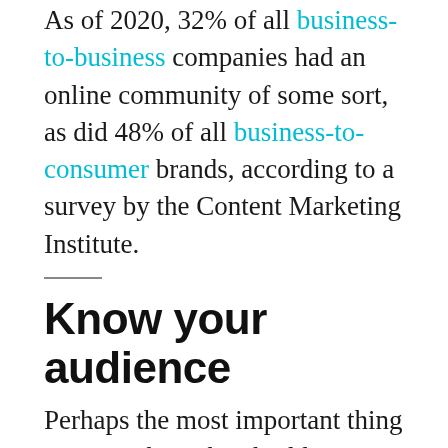As of 2020, 32% of all business-to-business companies had an online community of some sort, as did 48% of all business-to-consumer brands, according to a survey by the Content Marketing Institute.
Know your audience
Perhaps the most important thing to remember when building an online community is to pay attention to who